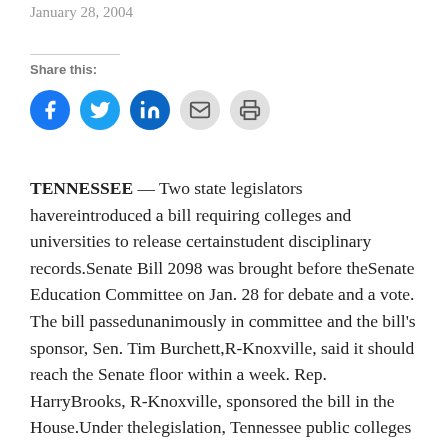January 28, 2004
Share this:
[Figure (infographic): Social sharing icons: Facebook (blue circle), Twitter (light blue circle), LinkedIn (dark blue circle), Email (grey circle), Print (grey circle)]
TENNESSEE — Two state legislators have reintroduced a bill requiring colleges and universities to release certain student disciplinary records. Senate Bill 2098 was brought before the Senate Education Committee on Jan. 28 for debate and a vote. The bill passed unanimously in committee and the bill's sponsor, Sen. Tim Burchett, R-Knoxville, said it should reach the Senate floor within a week. Rep. Harry Brooks, R-Knoxville, sponsored the bill in the House. Under the legislation, Tennessee public colleges and universities would be required to release the final results of investigations into violent crimes or nonforcible sex